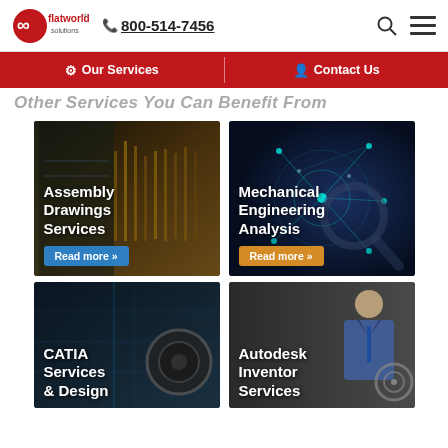flatworld solutions | 800-514-7456
Our Services | Contact Us
Other Services You Can Benefit From
[Figure (screenshot): Assembly Drawings Services card with gold/dark background and blue Read more button]
[Figure (screenshot): Mechanical Engineering Analysis card with dark blue network background and orange Read more button]
[Figure (screenshot): CATIA Services & Design card with dark teal background]
[Figure (screenshot): Autodesk Inventor Services card with man in suit background]